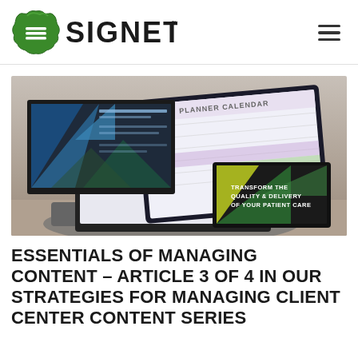SIGNET
[Figure (photo): Person typing on a laptop with multiple screens visible: a monitor showing a blue/teal presentation with geometric shapes, a tablet showing a planner calendar, and a smaller screen showing 'TRANSFORM THE QUALITY & DELIVERY OF YOUR PATIENT CARE' with green and dark geometric design.]
ESSENTIALS OF MANAGING CONTENT – ARTICLE 3 OF 4 IN OUR STRATEGIES FOR MANAGING CLIENT CENTER CONTENT SERIES